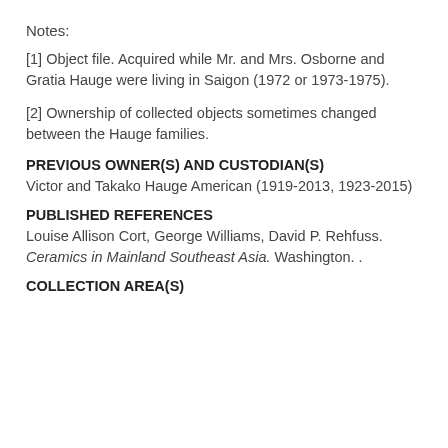Notes:
[1] Object file. Acquired while Mr. and Mrs. Osborne and Gratia Hauge were living in Saigon (1972 or 1973-1975).
[2] Ownership of collected objects sometimes changed between the Hauge families.
PREVIOUS OWNER(S) AND CUSTODIAN(S)
Victor and Takako Hauge American (1919-2013, 1923-2015)
PUBLISHED REFERENCES
Louise Allison Cort, George Williams, David P. Rehfuss. Ceramics in Mainland Southeast Asia. Washington. .
COLLECTION AREA(S)